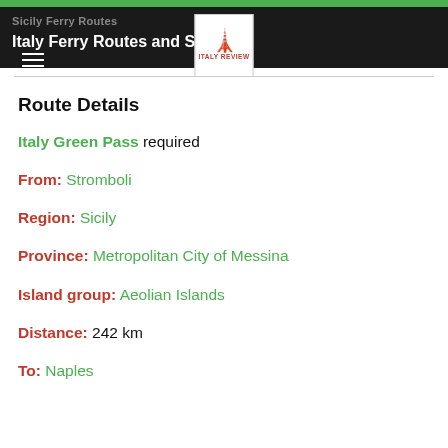Sicily Ferry Routes | Italy Ferry Routes and Schedules — ITALY REVIEW
Route Details
Italy Green Pass required
From: Stromboli
Region: Sicily
Province: Metropolitan City of Messina
Island group: Aeolian Islands
Distance: 242 km
To: Naples